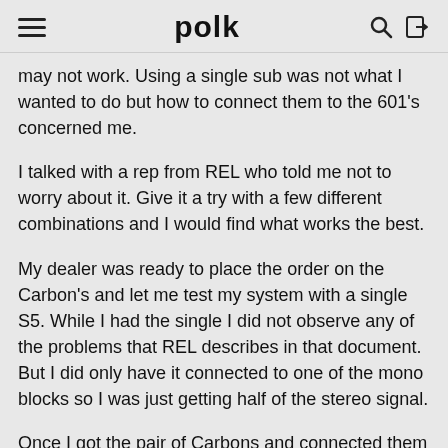polk
may not work. Using a single sub was not what I wanted to do but how to connect them to the 601's concerned me.
I talked with a rep from REL who told me not to worry about it. Give it a try with a few different combinations and I would find what works the best.
My dealer was ready to place the order on the Carbon's and let me test my system with a single S5. While I had the single I did not observe any of the problems that REL describes in that document. But I did only have it connected to one of the mono blocks so I was just getting half of the stereo signal.
Once I got the pair of Carbons and connected them to each 601 I was blown away with how much the lower end was improved. It took time to dial in and I have moved